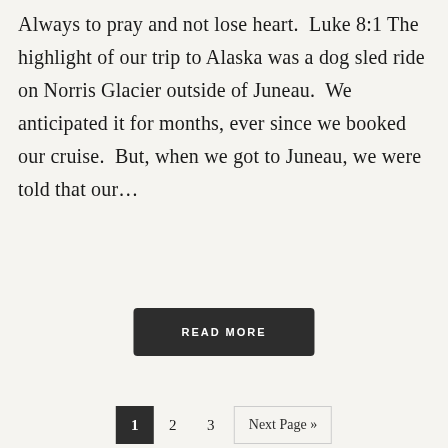Always to pray and not lose heart.  Luke 8:1 The highlight of our trip to Alaska was a dog sled ride on Norris Glacier outside of Juneau.  We anticipated it for months, ever since we booked our cruise.  But, when we got to Juneau, we were told that our...
READ MORE
1  2  3  Next Page »